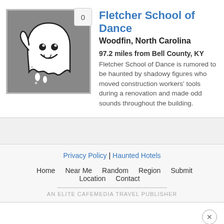[Figure (illustration): Ghost mascot illustration on gray background with a badge showing '0' in top right corner]
Fletcher School of Dance
Woodfin, North Carolina
97.2 miles from Bell County, KY
Fletcher School of Dance is rumored to be haunted by shadowy figures who moved construction workers' tools during a renovation and made odd sounds throughout the building.
Privacy Policy | Haunted Hotels
Home   Near Me   Random   Region   Submit Location   Contact
AN ELITE CAFEMEDIA TRAVEL PUBLISHER